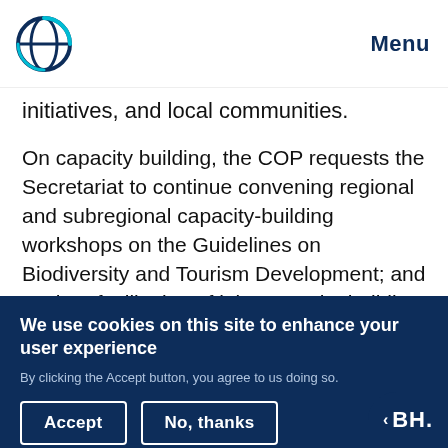Menu
initiatives, and local communities.
On capacity building, the COP requests the Secretariat to continue convening regional and subregional capacity-building workshops on the Guidelines on Biodiversity and Tourism Development; and explore facilitation of joint capacity-building workshops with other multilateral environmental agreements (MEAs) to
We use cookies on this site to enhance your user experience
By clicking the Accept button, you agree to us doing so.